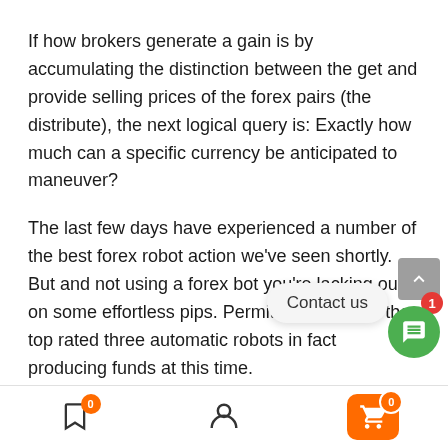If how brokers generate a gain is by accumulating the distinction between the get and provide selling prices of the forex pairs (the distribute), the next logical query is: Exactly how much can a specific currency be anticipated to maneuver?
The last few days have experienced a number of the best forex robot action we've seen shortly. But and not using a forex bot you're lacking out on some effortless pips. Permit's think about the top rated three automatic robots in fact producing funds at this time.
Более подробно об этой замечательной особенности